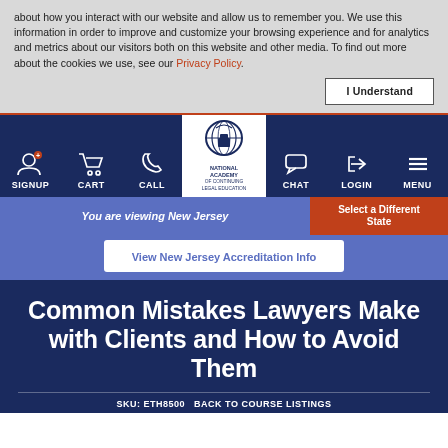about how you interact with our website and allow us to remember you. We use this information in order to improve and customize your browsing experience and for analytics and metrics about our visitors both on this website and other media. To find out more about the cookies we use, see our Privacy Policy.
I Understand
[Figure (screenshot): Navigation bar with icons: SIGNUP, CART, CALL, National Academy of Continuing Legal Education logo (center), CHAT, LOGIN, MENU]
You are viewing New Jersey
Select a Different State
View New Jersey Accreditation Info
Common Mistakes Lawyers Make with Clients and How to Avoid Them
SKU: ETH8500  BACK TO COURSE LISTINGS